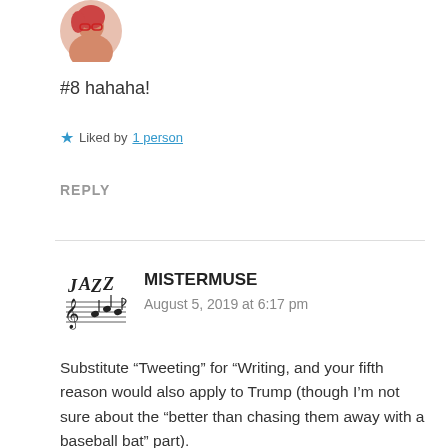[Figure (photo): Circular avatar photo of a person with reddish hair and red-framed glasses]
#8 hahaha!
Liked by 1 person
REPLY
[Figure (logo): Jazz music logo with music notes and the word JAZZ]
MISTERMUSE
August 5, 2019 at 6:17 pm
Substitute “Tweeting” for “Writing, and your fifth reason would also apply to Trump (though I’m not sure about the “better than chasing them away with a baseball bat” part).